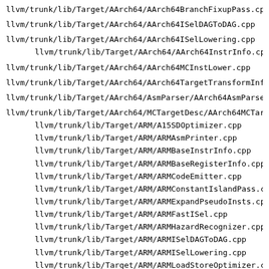llvm/trunk/lib/Target/AArch64/AArch64BranchFixupPass.cpp
llvm/trunk/lib/Target/AArch64/AArch64ISelDAGToDAG.cpp
llvm/trunk/lib/Target/AArch64/AArch64ISelLowering.cpp
llvm/trunk/lib/Target/AArch64/AArch64InstrInfo.cpp
llvm/trunk/lib/Target/AArch64/AArch64MCInstLower.cpp
llvm/trunk/lib/Target/AArch64/AArch64TargetTransformInfo
llvm/trunk/lib/Target/AArch64/AsmParser/AArch64AsmParser
llvm/trunk/lib/Target/AArch64/MCTargetDesc/AArch64MCTarge
llvm/trunk/lib/Target/ARM/A15SDOptimizer.cpp
llvm/trunk/lib/Target/ARM/ARMAsmPrinter.cpp
llvm/trunk/lib/Target/ARM/ARMBaseInstrInfo.cpp
llvm/trunk/lib/Target/ARM/ARMBaseRegisterInfo.cpp
llvm/trunk/lib/Target/ARM/ARMCodeEmitter.cpp
llvm/trunk/lib/Target/ARM/ARMConstantIslandPass.cpp
llvm/trunk/lib/Target/ARM/ARMExpandPseudoInsts.cpp
llvm/trunk/lib/Target/ARM/ARMFastISel.cpp
llvm/trunk/lib/Target/ARM/ARMHazardRecognizer.cpp
llvm/trunk/lib/Target/ARM/ARMISelDAGToDAG.cpp
llvm/trunk/lib/Target/ARM/ARMISelLowering.cpp
llvm/trunk/lib/Target/ARM/ARMLoadStoreOptimizer.cpp
llvm/trunk/lib/Target/ARM/ARMTargetObjectFile.cpp
llvm/trunk/lib/Target/ARM/ARMTargetTransformInfo.cpp
llvm/trunk/lib/Target/ARM/AsmParser/ARMAsmParser.cpp